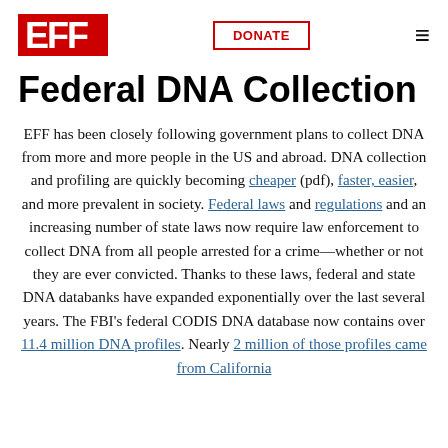EFF | DONATE | menu
Federal DNA Collection
EFF has been closely following government plans to collect DNA from more and more people in the US and abroad. DNA collection and profiling are quickly becoming cheaper (pdf), faster, easier, and more prevalent in society. Federal laws and regulations and an increasing number of state laws now require law enforcement to collect DNA from all people arrested for a crime—whether or not they are ever convicted. Thanks to these laws, federal and state DNA databanks have expanded exponentially over the last several years. The FBI's federal CODIS DNA database now contains over 11.4 million DNA profiles. Nearly 2 million of those profiles came from California